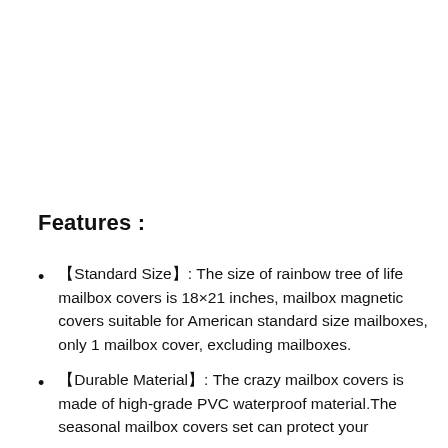Features :
【Standard Size】: The size of rainbow tree of life mailbox covers is 18×21 inches, mailbox magnetic covers suitable for American standard size mailboxes, only 1 mailbox cover, excluding mailboxes.
【Durable Material】: The crazy mailbox covers is made of high-grade PVC waterproof material.The seasonal mailbox covers set can protect your